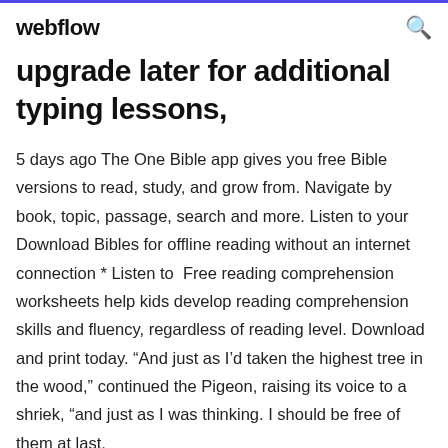webflow
upgrade later for additional typing lessons,
5 days ago The One Bible app gives you free Bible versions to read, study, and grow from. Navigate by book, topic, passage, search and more. Listen to your Download Bibles for offline reading without an internet connection * Listen to  Free reading comprehension worksheets help kids develop reading comprehension skills and fluency, regardless of reading level. Download and print today. “And just as I’d taken the highest tree in the wood,” continued the Pigeon, raising its voice to a shriek, “and just as I was thinking. I should be free of them at last,